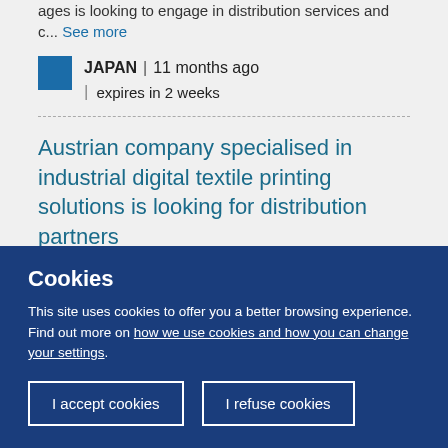ages is looking to engage in distribution services and c... See more
JAPAN | 11 months ago | expires in 2 weeks
Austrian company specialised in industrial digital textile printing solutions is looking for distribution partners
An Austrian company is specialized in the professional provision of complete solutions in
Cookies
This site uses cookies to offer you a better browsing experience. Find out more on how we use cookies and how you can change your settings.
I accept cookies
I refuse cookies